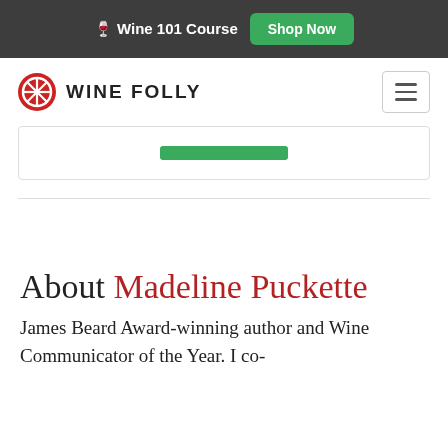🍷 Wine 101 Course  Shop Now
[Figure (logo): Wine Folly logo — red circle with stylized W, followed by 'WINE FOLLY' text in bold sans-serif]
[Figure (other): Green horizontal bar button element inside a bordered card]
About Madeline Puckette
James Beard Award-winning author and Wine Communicator of the Year. I co-